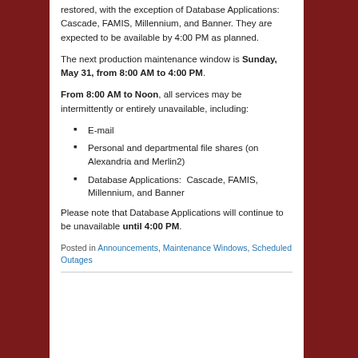restored, with the exception of Database Applications: Cascade, FAMIS, Millennium, and Banner. They are expected to be available by 4:00 PM as planned.
The next production maintenance window is Sunday, May 31, from 8:00 AM to 4:00 PM.
From 8:00 AM to Noon, all services may be intermittently or entirely unavailable, including:
E-mail
Personal and departmental file shares (on Alexandria and Merlin2)
Database Applications:  Cascade, FAMIS, Millennium, and Banner
Please note that Database Applications will continue to be unavailable until 4:00 PM.
Posted in Announcements, Maintenance Windows, Scheduled Outages